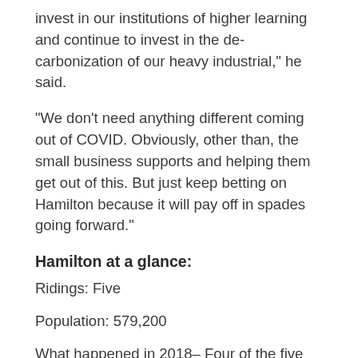invest in our institutions of higher learning and continue to invest in the de-carbonization of our heavy industrial," he said.
"We don't need anything different coming out of COVID. Obviously, other than, the small business supports and helping them get out of this. But just keep betting on Hamilton because it will pay off in spades going forward."
Hamilton at a glance:
Ridings: Five
Population: 579,200
What happened in 2018– Four of the five ridings in Hamilton were won by the NDP in the last election, including Hamilton Centre, where